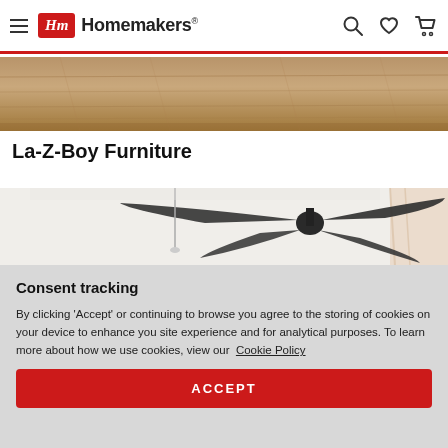Homemakers
[Figure (photo): Partial view of a wooden shelf or mantle with natural wood grain texture]
La-Z-Boy Furniture
[Figure (photo): Ceiling fan with dark blades mounted on a white ceiling in a bright room with curtains visible]
Consent tracking
By clicking 'Accept' or continuing to browse you agree to the storing of cookies on your device to enhance you site experience and for analytical purposes. To learn more about how we use cookies, view our  Cookie Policy
ACCEPT